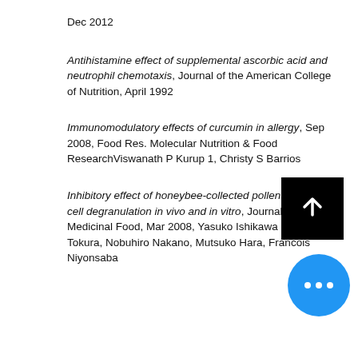Dec 2012
Antihistamine effect of supplemental ascorbic acid and neutrophil chemotaxis, Journal of the American College of Nutrition, April 1992
Immunomodulatory effects of curcumin in allergy, Sep 2008, Food Res. Molecular Nutrition & Food ResearchViswanath P Kurup 1, Christy S Barrios
Inhibitory effect of honeybee-collected pollen on mast cell degranulation in vivo and in vitro, Journal of Medicinal Food, Mar 2008, Yasuko Ishikawa 1, Tomoko Tokura, Nobuhiro Nakano, Mutsuko Hara, Francois Niyonsaba